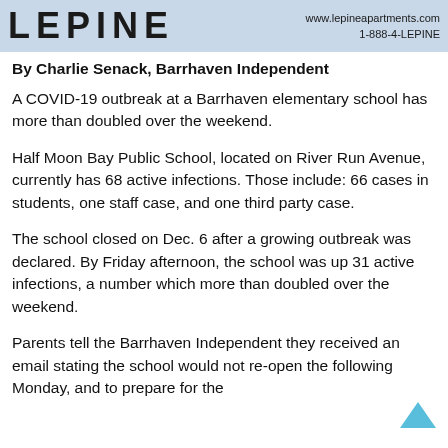[Figure (logo): Lepine Apartments banner with logo text 'LEPINE', website www.lepineapartments.com and phone 1-888-4-LEPINE on a light blue/grey background]
By Charlie Senack, Barrhaven Independent
A COVID-19 outbreak at a Barrhaven elementary school has more than doubled over the weekend.
Half Moon Bay Public School, located on River Run Avenue, currently has 68 active infections. Those include: 66 cases in students, one staff case, and one third party case.
The school closed on Dec. 6 after a growing outbreak was declared. By Friday afternoon, the school was up 31 active infections, a number which more than doubled over the weekend.
Parents tell the Barrhaven Independent they received an email stating the school would not re-open the following Monday, and to prepare for the